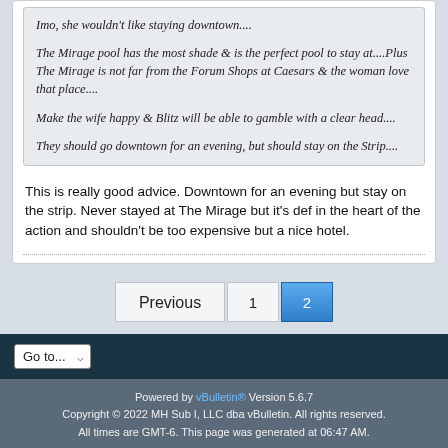Imo, she wouldn't like staying downtown....
The Mirage pool has the most shade & is the perfect pool to stay at....Plus The Mirage is not far from the Forum Shops at Caesars & the woman love that place....
Make the wife happy & Blitz will be able to gamble with a clear head....
They should go downtown for an evening, but should stay on the Strip....
This is really good advice. Downtown for an evening but stay on the strip. Never stayed at The Mirage but it's def in the heart of the action and shouldn't be too expensive but a nice hotel.
Previous 1 2
Go to...
Powered by vBulletin® Version 5.6.7 Copyright © 2022 MH Sub I, LLC dba vBulletin. All rights reserved. All times are GMT-6. This page was generated at 06:47 AM.